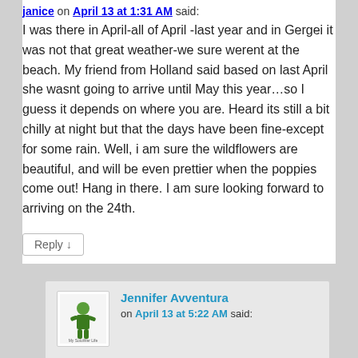janice on April 13 at 1:31 AM said:
I was there in April-all of April -last year and in Gergei it was not that great weather-we sure werent at the beach. My friend from Holland said based on last April she wasnt going to arrive until May this year...so I guess it depends on where you are. Heard its still a bit chilly at night but that the days have been fine-except for some rain. Well, i am sure the wildflowers are beautiful, and will be even prettier when the poppies come out! Hang in there. I am sure looking forward to arriving on the 24th.
Reply ↓
Jennifer Avventura on April 13 at 5:22 AM said:
I sure hope it warms up, this morning the skies are grey and it's raining plenty! arg! Fingers are crossed.